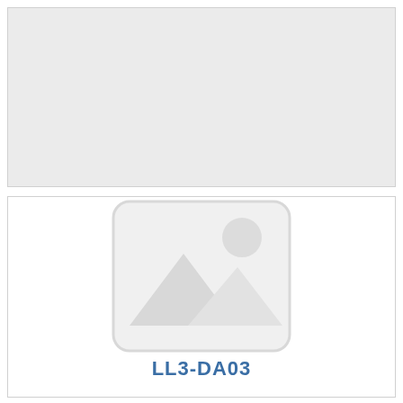[Figure (other): Top gray panel - blank/empty content area]
[Figure (photo): White panel with a gray image placeholder icon (mountain and sun symbol) centered in the upper portion]
LL3-DA03